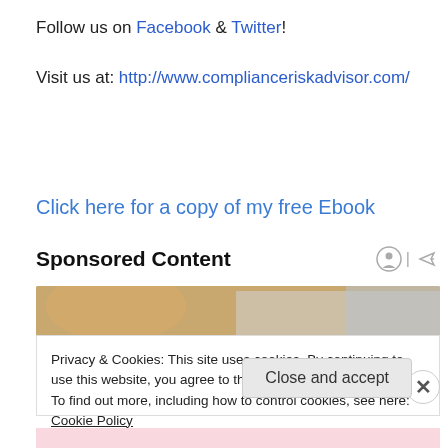Follow us on Facebook & Twitter!
Visit us at: http://www.complianceriskadvisor.com/
Click here for a copy of my free Ebook
Sponsored Content
[Figure (photo): Partial photo of a person with blonde hair in a bright setting]
Privacy & Cookies: This site uses cookies. By continuing to use this website, you agree to their use.
To find out more, including how to control cookies, see here: Cookie Policy
Close and accept